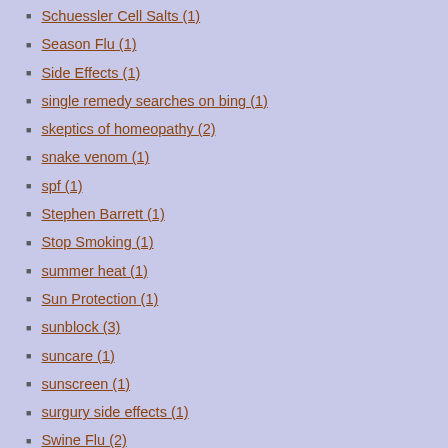Schuessler Cell Salts (1)
Season Flu (1)
Side Effects (1)
single remedy searches on bing (1)
skeptics of homeopathy (2)
snake venom (1)
spf (1)
Stephen Barrett (1)
Stop Smoking (1)
summer heat (1)
Sun Protection (1)
sunblock (3)
suncare (1)
sunscreen (1)
surgury side effects (1)
Swine Flu (2)